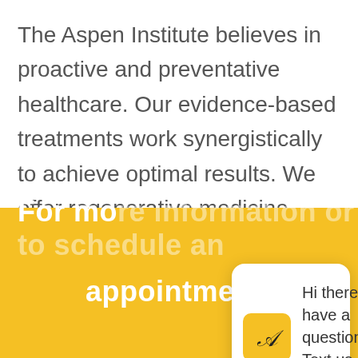The Aspen Institute believes in proactive and preventative healthcare. Our evidence-based treatments work synergistically to achieve optimal results. We offer regenerative medicine, hormone replacement, vitamin, skincare, peptide, and PRP injection therapies to help patients gain control over their health and enjoy a better quality of life.
[Figure (screenshot): Chat widget popup bubble with Aspen Institute logo icon and text 'Hi there, have a question? Text us here.' with a close button and circular chat button]
For mo... appointment: